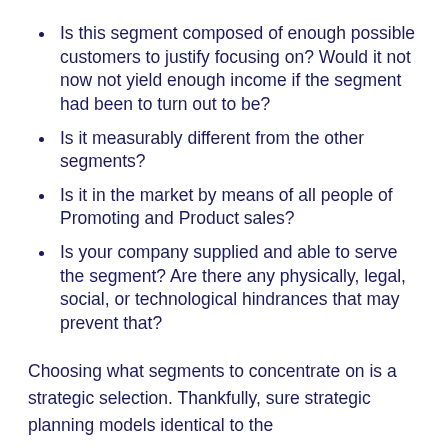Is this segment composed of enough possible customers to justify focusing on? Would it not now not yield enough income if the segment had been to turn out to be?
Is it measurably different from the other segments?
Is it in the market by means of all people of Promoting and Product sales?
Is your company supplied and able to serve the segment? Are there any physically, legal, social, or technological hindrances that may prevent that?
Choosing what segments to concentrate on is a strategic selection. Thankfully, sure strategic planning models identical to the